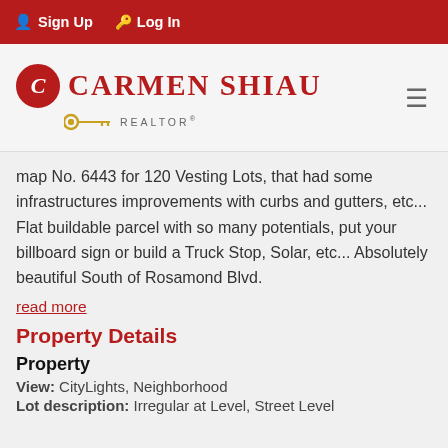Sign Up  Log In
[Figure (logo): Carmen Shiau Realtor logo with red circle C monogram and gold key icon]
map No. 6443 for 120 Vesting Lots, that had some infrastructures improvements with curbs and gutters, etc... Flat buildable parcel with so many potentials, put your billboard sign or build a Truck Stop, Solar, etc... Absolutely beautiful South of Rosamond Blvd.
read more
Property Details
Property
View: CityLights, Neighborhood
Lot description: Irregular at Level, Street Level